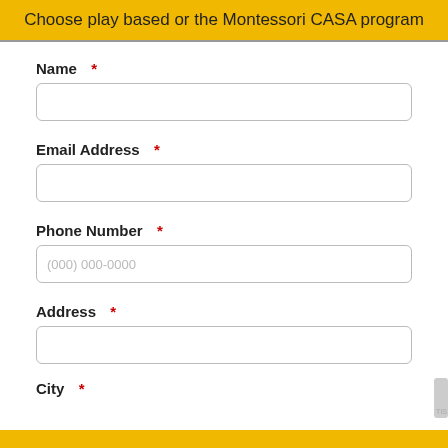Choose play based or the Montessori CASA program
Name *
Email Address *
Phone Number *
Address *
City *